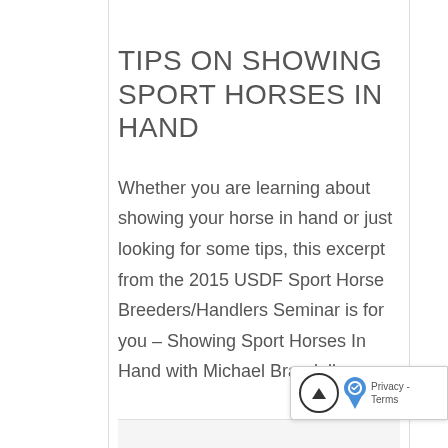TIPS ON SHOWING SPORT HORSES IN HAND
Whether you are learning about showing your horse in hand or just looking for some tips, this excerpt from the 2015 USDF Sport Horse Breeders/Handlers Seminar is for you – Showing Sport Horses In Hand with Michael Bragdell.